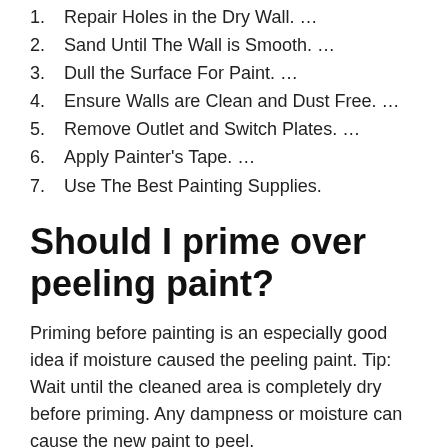1. Repair Holes in the Dry Wall. …
2. Sand Until The Wall is Smooth. …
3. Dull the Surface For Paint. …
4. Ensure Walls are Clean and Dust Free. …
5. Remove Outlet and Switch Plates. …
6. Apply Painter's Tape. …
7. Use The Best Painting Supplies.
Should I prime over peeling paint?
Priming before painting is an especially good idea if moisture caused the peeling paint. Tip: Wait until the cleaned area is completely dry before priming. Any dampness or moisture can cause the new paint to peel.